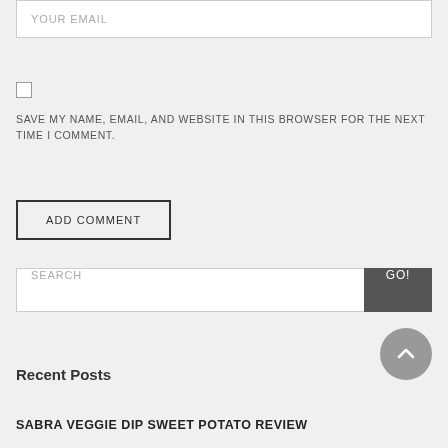YOUR EMAIL
SAVE MY NAME, EMAIL, AND WEBSITE IN THIS BROWSER FOR THE NEXT TIME I COMMENT.
ADD COMMENT
SEARCH
[Figure (illustration): Circular scroll-to-top button with upward-pointing chevron arrow, grey background]
Recent Posts
SABRA VEGGIE DIP SWEET POTATO REVIEW